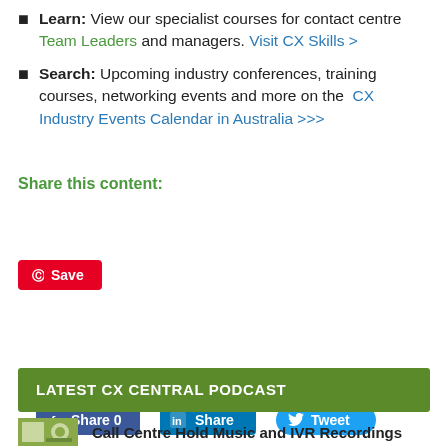Learn: View our specialist courses for contact centre Team Leaders and managers. Visit CX Skills >
Search: Upcoming industry conferences, training courses, networking events and more on the CX Industry Events Calendar in Australia >>>
Share this content:
[Figure (infographic): Social share buttons: Facebook Share 0, LinkedIn Share, Twitter Tweet, Pinterest Save]
LATEST CX CENTRAL PODCAST
Call Centre Hold Music and IVR Recordings